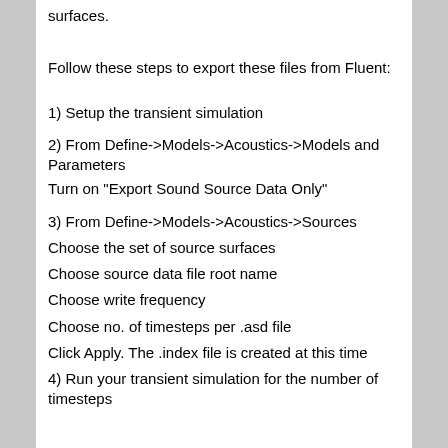surfaces.
Follow these steps to export these files from Fluent:
1) Setup the transient simulation
2) From Define->Models->Acoustics->Models and Parameters
Turn on "Export Sound Source Data Only"
3) From Define->Models->Acoustics->Sources
Choose the set of source surfaces
Choose source data file root name
Choose write frequency
Choose no. of timesteps per .asd file
Click Apply. The .index file is created at this time
4) Run your transient simulation for the number of timesteps